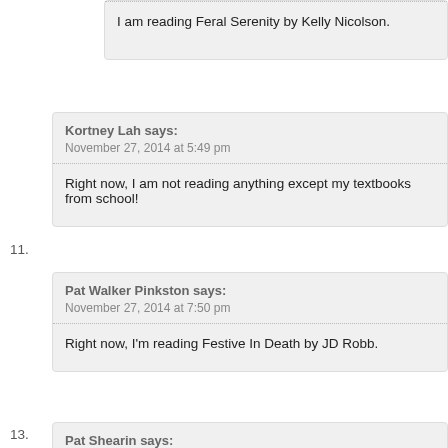I am reading Feral Serenity by Kelly Nicolson.
11. Kortney Lah says: November 27, 2014 at 5:49 pm — Right now, I am not reading anything except my textbooks from school!
12. Pat Walker Pinkston says: November 27, 2014 at 7:50 pm — Right now, I'm reading Festive In Death by JD Robb.
13. Pat Shearin says: November 29, 2014 at 6:46 am